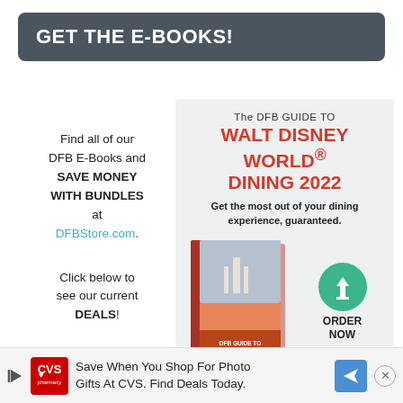GET THE E-BOOKS!
Find all of our DFB E-Books and SAVE MONEY WITH BUNDLES at DFBStore.com.

Click below to see our current DEALS!
[Figure (infographic): Advertisement for The DFB Guide to Walt Disney World Dining 2022. Shows book cover, download button circle, text: Get the most out of your dining experience, guaranteed. ORDER NOW. Start your planning today!]
Save When You Shop For Photo Gifts At CVS. Find Deals Today.